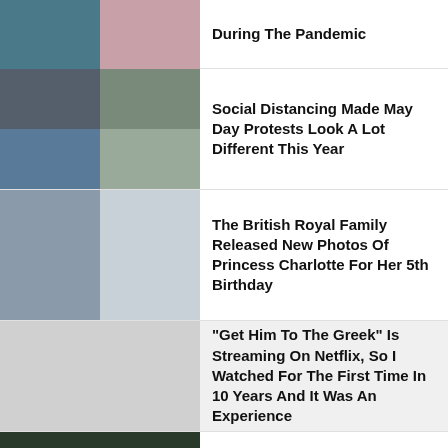[Figure (photo): Two photos side by side: left shows teal geometric scene, right shows hands close-up]
During The Pandemic
[Figure (photo): Four photos in 2x2 grid: street protesters with signs including #Recovery4All]
Social Distancing Made May Day Protests Look A Lot Different This Year
[Figure (photo): Two photos side by side of Princess Charlotte smiling and playing outdoors]
The British Royal Family Released New Photos Of Princess Charlotte For Her 5th Birthday
[Figure (photo): Light grey placeholder image]
"Get Him To The Greek" Is Streaming On Netflix, So I Watched For The First Time In 10 Years And It Was An Experience
[Figure (photo): Child writing 2+2 on a blackboard with text overlay 'Can you do math?']
If You Get 7/10 On This Math Quiz, Congratulations, You've